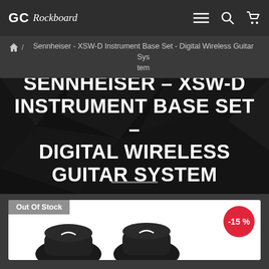GC Rockboard
Sennheiser - XSW-D Instrument Base Set - Digital Wireless Guitar System
SENNHEISER – XSW-D INSTRUMENT BASE SET – DIGITAL WIRELESS GUITAR SYSTEM
Out Of Stock
-15 %